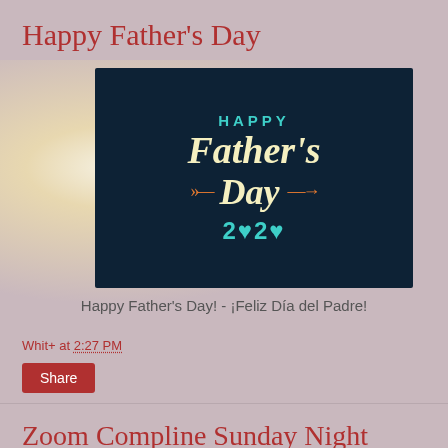Happy Father's Day
[Figure (illustration): A greeting card image on a dark navy background reading 'HAPPY Father's Day 2020' with teal and yellow lettering and orange arrow decorations, set against a candle background]
Happy Father's Day! - ¡Feliz Día del Padre!
Whit+ at 2:27 PM
Share
Zoom Compline Sunday Night